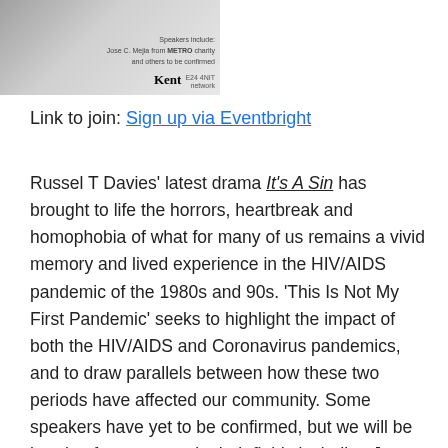[Figure (photo): Partial image of people in white clothing at top left, with University of Kent logo and overlay text mentioning Jose C. Mejia from METRO Charity and randomness to be confirmed]
Link to join: Sign up via Eventbright
Russel T Davies’ latest drama It’s A Sin has brought to life the horrors, heartbreak and homophobia of what for many of us remains a vivid memory and lived experience in the HIV/AIDS pandemic of the 1980s and 90s. ‘This Is Not My First Pandemic’ seeks to highlight the impact of both the HIV/AIDS and Coronavirus pandemics, and to draw parallels between how these two periods have affected our community. Some speakers have yet to be confirmed, but we will be hearing from experts in their fields including Jose C. Mejia from METRO Charity who will be addressing the legacy and continued impact of the HIV/AIDS pandemic.